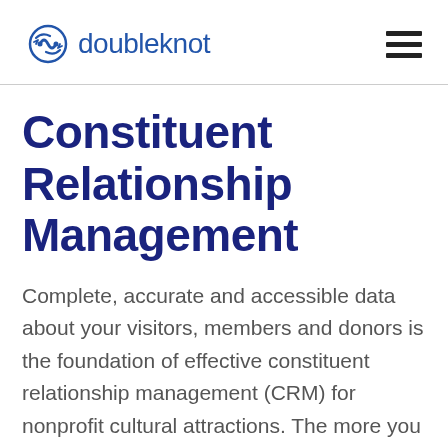doubleknot
Constituent Relationship Management
Complete, accurate and accessible data about your visitors, members and donors is the foundation of effective constituent relationship management (CRM) for nonprofit cultural attractions. The more you know about each constituent, the more precisely you can target offers and communications to